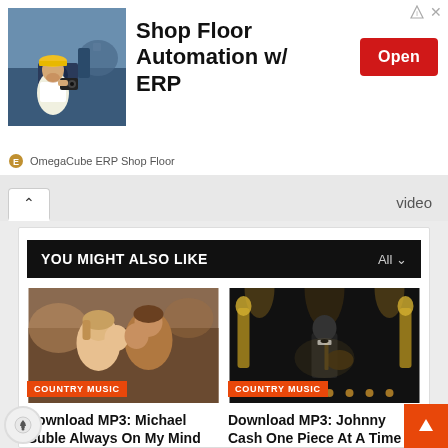[Figure (screenshot): Advertisement banner for OmegaCube ERP Shop Floor Automation with a photo of a worker in a yellow hard hat, bold headline 'Shop Floor Automation w/ ERP', red Open button, and sponsor logo row.]
video
YOU MIGHT ALSO LIKE
[Figure (photo): Thumbnail image for Download MP3: Michael Buble Always On My Mind Lyrics - showing two people close together in a romantic scene, with COUNTRY MUSIC badge overlay.]
[Figure (photo): Thumbnail image for Download MP3: Johnny Cash One Piece At A Time Lyrics - showing Johnny Cash performing on stage with a guitar, with COUNTRY MUSIC badge overlay.]
Download MP3: Michael Buble Always On My Mind Lyrics
Download MP3: Johnny Cash One Piece At A Time Lyrics